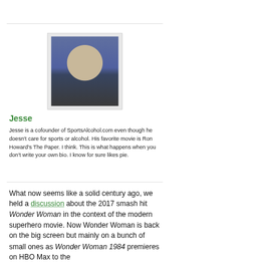[Figure (photo): Profile photo of Jesse, a man with glasses holding something, photographed outdoors at dusk]
Jesse
Jesse is a cofounder of SportsAlcohol.com even though he doesn't care for sports or alcohol. His favorite movie is Ron Howard's The Paper. I think. This is what happens when you don't write your own bio. I know for sure likes pie.
What now seems like a solid century ago, we held a discussion about the 2017 smash hit Wonder Woman in the context of the modern superhero movie. Now Wonder Woman is back on the big screen but mainly on a bunch of small ones as Wonder Woman 1984 premieres on HBO Max to the